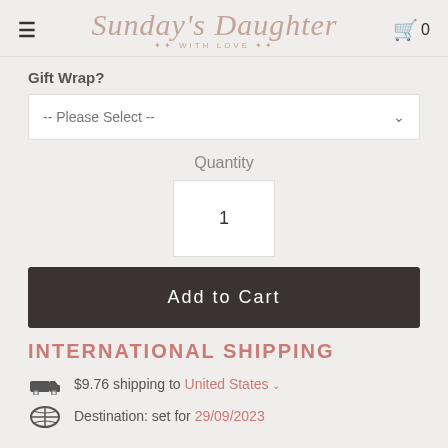Sunday's Daughter ✦ WITH LOVE ✦
Gift Wrap?
-- Please Select --
Quantity
1
Add to Cart
INTERNATIONAL SHIPPING
$9.76 shipping to United States ˅
Destination: set for 29/09/2023